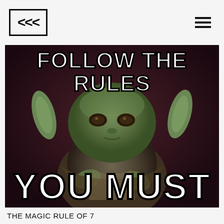<<< [hamburger menu]
[Figure (illustration): Yoda meme image with dark reddish-brown background. Top text reads 'FOLLOW THE RULES' in large white Impact font with black stroke. Bottom text reads 'YOU MUST' in large white Impact font with black stroke. Yoda character in center looking at camera.]
THE MAGIC RULE OF 7